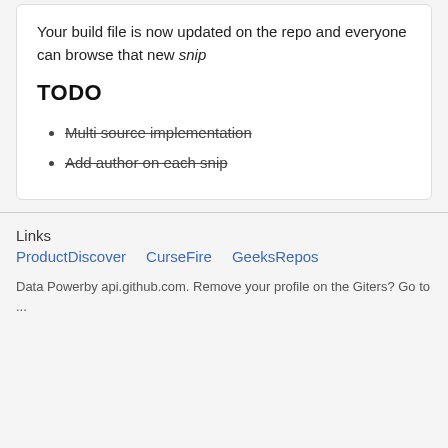Your build file is now updated on the repo and everyone can browse that new snip
TODO
Multi source implementation
Add author on each snip
Links
ProductDiscover   CurseFire   GeeksRepos
Data Powerby api.github.com. Remove your profile on the Giters? Go to ...